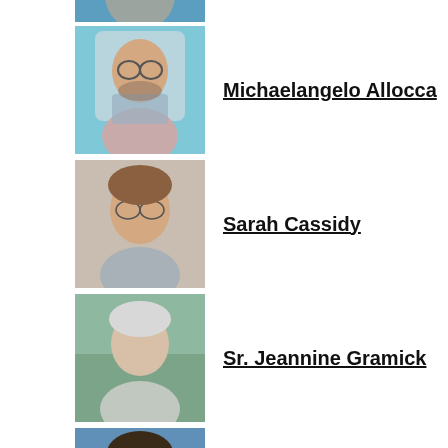[Figure (photo): Partial photo of a person at top of page (cropped)]
[Figure (photo): Photo of Michaelangelo Allocca]
Michaelangelo Allocca
[Figure (photo): Photo of Sarah Cassidy]
Sarah Cassidy
[Figure (photo): Photo of Sr. Jeannine Gramick]
Sr. Jeannine Gramick
[Figure (photo): Photo of Yunuen Trujillo]
Yunuen Trujillo
RECENT ARTICLES
Hospital Acquisition by Catholic Entity Protested Over LGBTQ Healthcare Concerns September 1, 2022